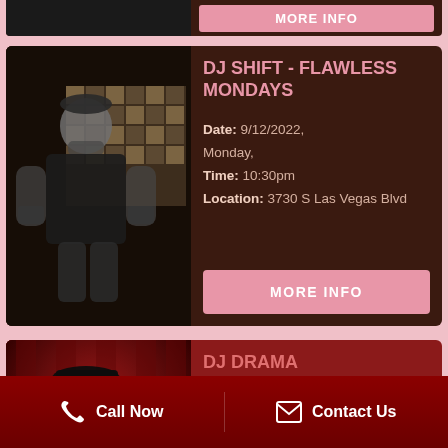[Figure (photo): Partially visible top card with DJ photo and MORE INFO button]
[Figure (photo): Black and white photo of DJ Shift standing in front of a grid-patterned background, wearing a black t-shirt]
DJ SHIFT - FLAWLESS MONDAYS
Date: 9/12/2022, Monday, Time: 10:30pm Location: 3730 S Las Vegas Blvd
MORE INFO
[Figure (photo): Photo of DJ Drama in red-lit environment, wearing black cap, hand covering part of face]
DJ DRAMA
Date: 9/16/2022, Friday, Time: 10:30pm Location: 3730 S L...
Call Now   Contact Us